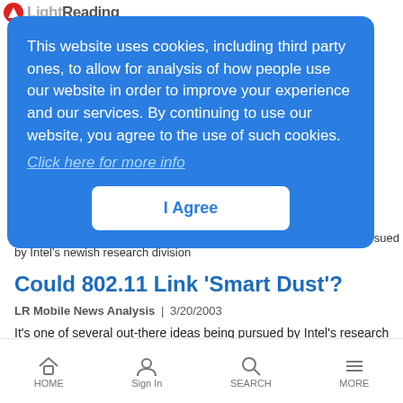LightReading
This website uses cookies, including third party ones, to allow for analysis of how people use our website in order to improve your experience and our services. By continuing to use our website, you agree to the use of such cookies.
Click here for more info
I Agree
pursued by Intel's newish research division
Could 802.11 Link 'Smart Dust'?
LR Mobile News Analysis | 3/20/2003
It's one of several out-there ideas being pursued by Intel's research division
HOME  Sign In  SEARCH  MORE